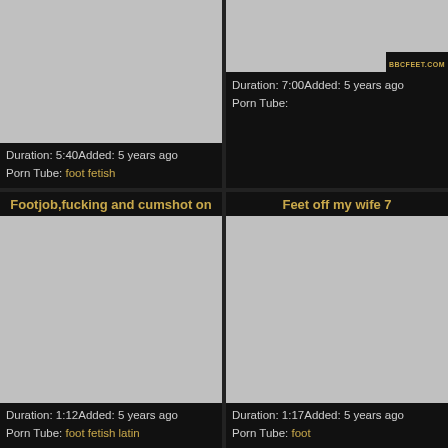[Figure (screenshot): Video thumbnail placeholder (gray) for first video]
Duration: 5:40Added: 5 years ago
Porn Tube: foot fetish
[Figure (photo): Partial video thumbnail showing person on couch with BBCFEET.COM watermark]
Duration: 7:00Added: 5 years ago
Porn Tube:
Footjob,fucking and cumshot on
Feet off my wife 7
[Figure (screenshot): Video thumbnail placeholder (gray) for bottom-left video]
Duration: 1:12Added: 5 years ago
Porn Tube: foot fetish latin
[Figure (screenshot): Video thumbnail placeholder (gray) for bottom-right video]
Duration: 1:17Added: 5 years ago
Porn Tube: foot